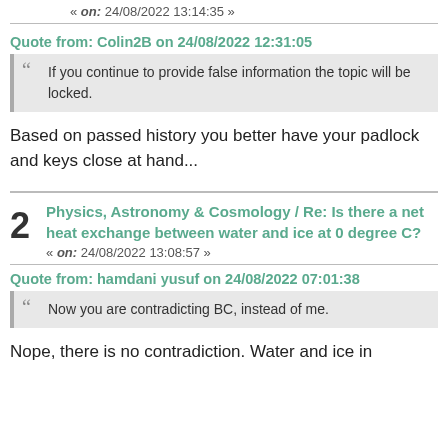« on: 24/08/2022 13:14:35 »
Quote from: Colin2B on 24/08/2022 12:31:05
If you continue to provide false information the topic will be locked.
Based on passed history you better have your padlock and keys close at hand...
Physics, Astronomy & Cosmology / Re: Is there a net heat exchange between water and ice at 0 degree C?
« on: 24/08/2022 13:08:57 »
Quote from: hamdani yusuf on 24/08/2022 07:01:38
Now you are contradicting BC, instead of me.
Nope, there is no contradiction.  Water and ice in